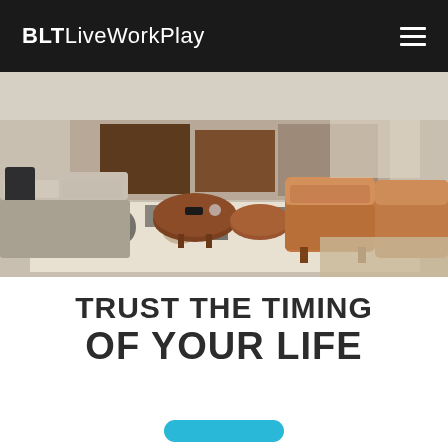BLTLiveWorkPlay
[Figure (photo): Interior lounge area with beige upholstered sectional sofa on the left, round wooden coffee tables in the center, and tan leather armchairs on the right, all arranged on a geometric patterned rug with dark and light tones.]
TRUST THE TIMING OF YOUR LIFE